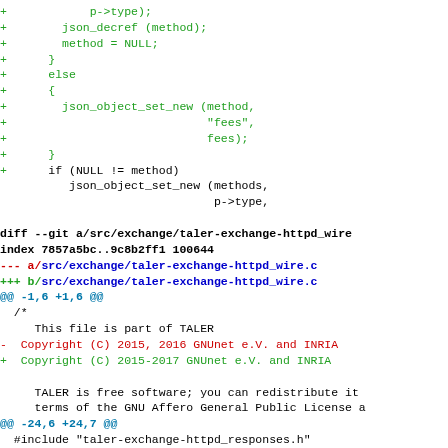Code diff showing changes to taler-exchange-httpd_wire.c and related files, including copyright year update from 2015,2016 to 2015-2017 GNUnet e.V. and INRIA